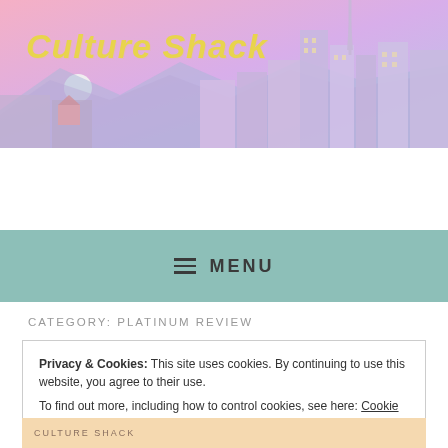[Figure (illustration): Culture Shack website header with pastel pink-purple cityscape background featuring buildings, a tower, mountains, and a moon. Title reads 'Culture Shack' in yellow italic bold text.]
Culture Shack
≡ MENU
CATEGORY: PLATINUM REVIEW
Privacy & Cookies: This site uses cookies. By continuing to use this website, you agree to their use.
To find out more, including how to control cookies, see here: Cookie Policy
Close and accept
CULTURE SHACK